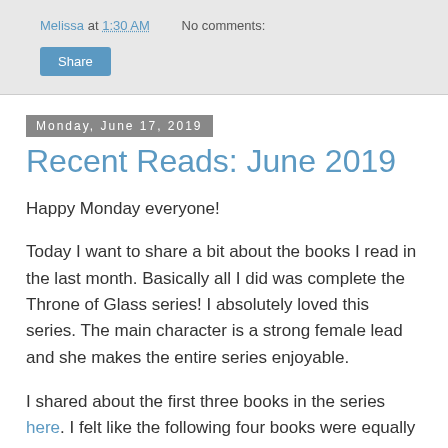Melissa at 1:30 AM    No comments:
Share
Monday, June 17, 2019
Recent Reads: June 2019
Happy Monday everyone!
Today I want to share a bit about the books I read in the last month. Basically all I did was complete the Throne of Glass series! I absolutely loved this series. The main character is a strong female lead and she makes the entire series enjoyable.
I shared about the first three books in the series here. I felt like the following four books were equally as good with the exception of Tower of Dawn being a bit boring. I don't want to give much away since you will need to read books 1-3 before reading these four but I disliked that the characters separated and you didn't get any further story about the main